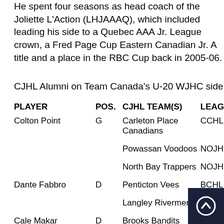He spent four seasons as head coach of the Joliette L'Action (LHJAAAQ), which included leading his side to a Quebec AAA Jr. League crown, a Fred Page Cup Eastern Canadian Jr. A title and a place in the RBC Cup back in 2005-06.
CJHL Alumni on Team Canada's U-20 WJHC side
| PLAYER | POS. | CJHL TEAM(S) | LEAG |
| --- | --- | --- | --- |
| Colton Point | G | Carleton Place Canadians | CCHL |
|  |  | Powassan Voodoos | NOJH |
|  |  | North Bay Trappers | NOJH |
| Dante Fabbro | D | Penticton Vees | BCHL |
|  |  | Langley Rivermen | BCHL |
| Cale Makar | D | Brooks Bandits | AJHL |
| Drake Batherson | F | Valley Wildcats |  |
| Alex Formenton | F | Aurora Tigers |  |